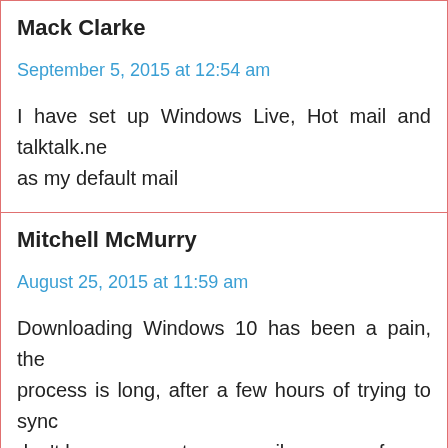Mack Clarke
September 5, 2015 at 12:54 am
I have set up Windows Live, Hot mail and talktalk.ne as my default mail
Mitchell McMurry
August 25, 2015 at 11:59 am
Downloading Windows 10 has been a pain, the process is long, after a few hours of trying to sync don't have access to my email, nor any of my documents and other MS Word, MS Excel, or othe